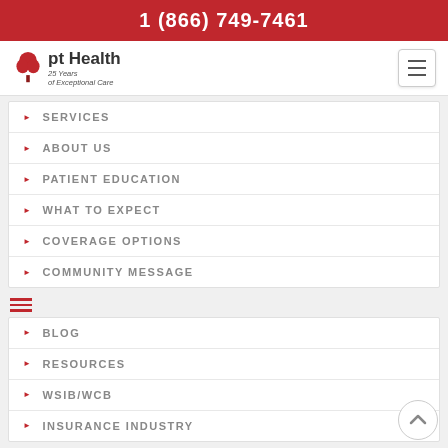1 (866) 749-7461
[Figure (logo): pt Health logo with tree icon and '25 Years of Exceptional Care' tagline]
SERVICES
ABOUT US
PATIENT EDUCATION
WHAT TO EXPECT
COVERAGE OPTIONS
COMMUNITY MESSAGE
BLOG
RESOURCES
WSIB/WCB
INSURANCE INDUSTRY